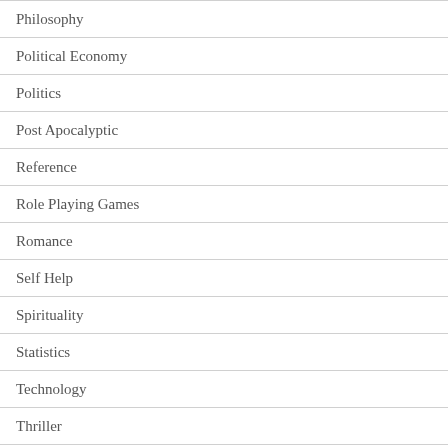Philosophy
Political Economy
Politics
Post Apocalyptic
Reference
Role Playing Games
Romance
Self Help
Spirituality
Statistics
Technology
Thriller
Westerns Fiction